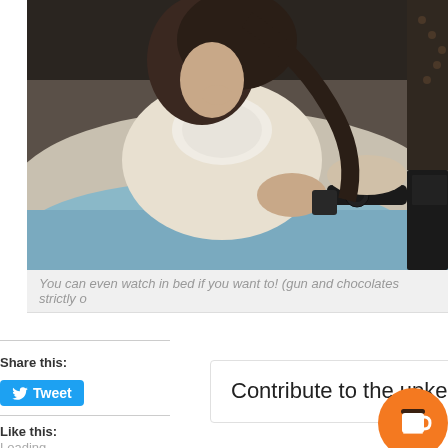[Figure (photo): Person lying in bed holding a revolver, wearing a white lace blouse, with blue bedding. A dark object (possibly a typewriter) is visible on the right side.]
You can even watch in bed if you want to! (gun and chocolates strictly o
Share this:
Tweet
Like this:
Loading...
Contribute to the upkeep of this website - from just $3